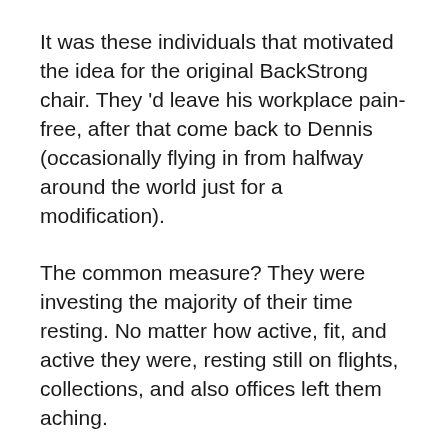It was these individuals that motivated the idea for the original BackStrong chair. They 'd leave his workplace pain-free, after that come back to Dennis (occasionally flying in from halfway around the world just for a modification).
The common measure? They were investing the majority of their time resting. No matter how active, fit, and active they were, resting still on flights, collections, and also offices left them aching.
Dennis spent years considering an option to help his clients escape this cycle of discomfort. He understood he required to discover a way to allow his people' bodies